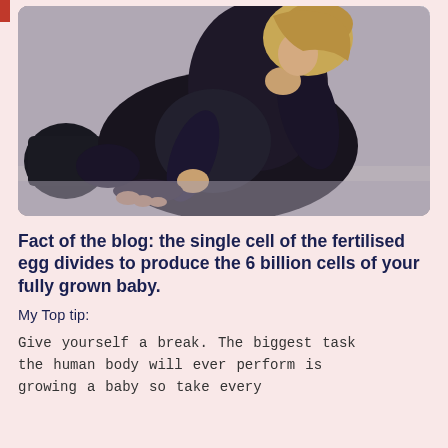[Figure (photo): Pregnant woman in dark clothing sitting cross-legged on the floor, cradling her baby bump with both hands, photographed from the side in a bright indoor setting.]
Fact of the blog: the single cell of the fertilised egg divides to produce the 6 billion cells of your fully grown baby.
My Top tip:
Give yourself a break. The biggest task the human body will ever perform is growing a baby so take every